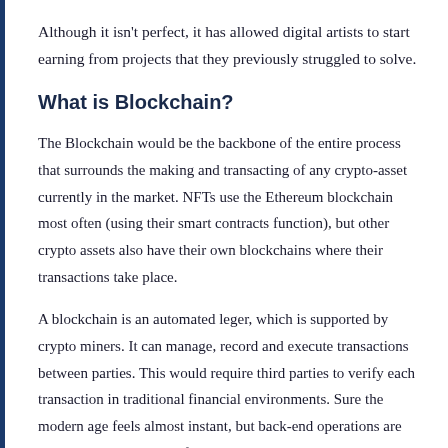Although it isn't perfect, it has allowed digital artists to start earning from projects that they previously struggled to solve.
What is Blockchain?
The Blockchain would be the backbone of the entire process that surrounds the making and transacting of any crypto-asset currently in the market. NFTs use the Ethereum blockchain most often (using their smart contracts function), but other crypto assets also have their own blockchains where their transactions take place.
A blockchain is an automated leger, which is supported by crypto miners. It can manage, record and execute transactions between parties. This would require third parties to verify each transaction in traditional financial environments. Sure the modern age feels almost instant, but back-end operations are still comprised mainly of audits that ensure each transaction